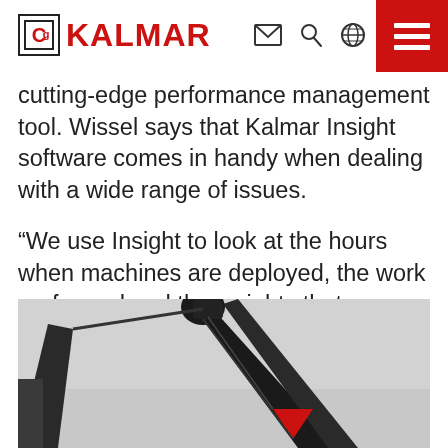KALMAR
cutting-edge performance management tool. Wissel says that Kalmar Insight software comes in handy when dealing with a wide range of issues.
“We use Insight to look at the hours when machines are deployed, the work performed and the weights that are lifted, as well as various service schedules – among other things,” he sums up.
[Figure (photo): Industrial crane or lifting equipment arm photographed from below against a grey sky, with a red triangular element visible at the base of the arm.]